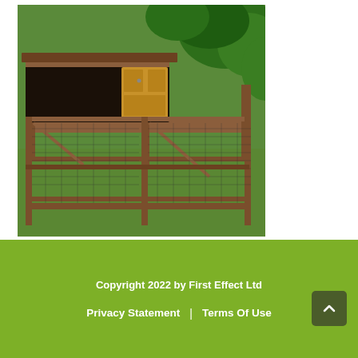[Figure (photo): A wooden rabbit hutch with an attached wire mesh run, sitting on green grass in a garden. The hutch has a raised sleeping compartment with a wooden door, and a large open wire run area in front and below.]
Copyright 2022 by First Effect Ltd
Privacy Statement | Terms Of Use